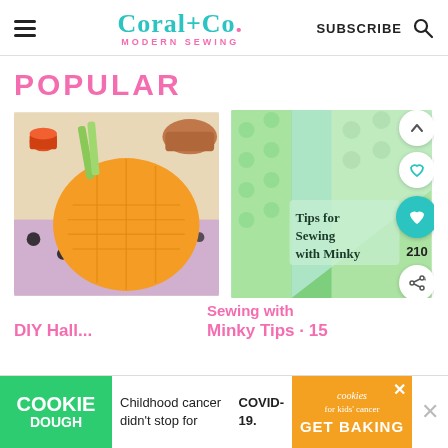Coral+Co. MODERN SEWING — SUBSCRIBE
POPULAR
[Figure (photo): Orange potholder with quilted lines, surrounded by colorful thread spools and Halloween fabric on a wood table]
[Figure (photo): Green minky fabric pieces in various patterns with overlay text: Tips for Sewing with Minky]
Sewing with
Minky Tips - 15
DIY Hall...
[Figure (infographic): Ad banner: COOKIE DOUGH — Childhood cancer didn't stop for COVID-19. — cookies for kids' cancer — GET BAKING]